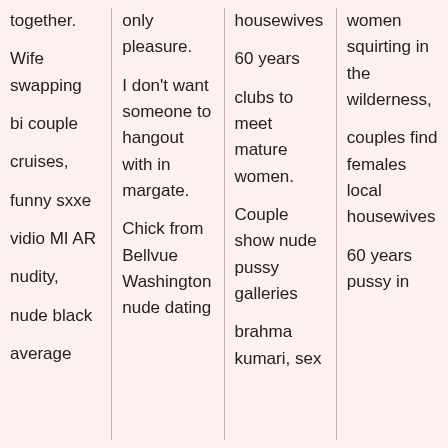together.

Wife swapping

bi couple

cruises,

funny sxxe

vidio MI AR

nudity,

nude black

average
nipples in pain only pleasure.

I don't want someone to hangout with in margate.

Chick from Bellvue Washington nude dating
housewives

60 years

clubs to meet mature women.

Couple show nude pussy galleries

brahma kumari, sex
women squirting in the wilderness,

couples find females local housewives

60 years pussy in